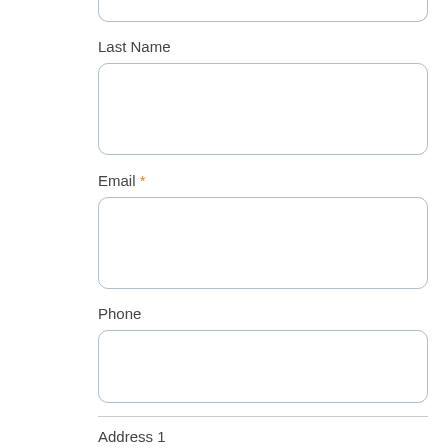[Figure (other): Top of a rounded input box (partially visible at top of page, cropped)]
Last Name
[Figure (other): Empty rounded input field for Last Name]
Email *
[Figure (other): Empty rounded input field for Email]
Phone
[Figure (other): Empty rounded input field for Phone]
[Figure (other): Horizontal divider line separating sections]
Address 1
[Figure (other): Partially visible rounded input field for Address 1 at bottom of page]